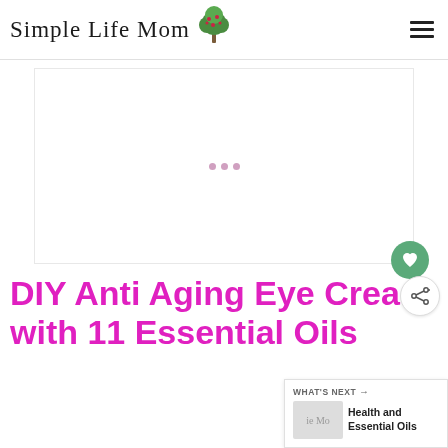Simple Life Mom
[Figure (other): Advertisement placeholder area with three small pink dots in the center]
DIY Anti Aging Eye Cream with 11 Essential Oils
WHAT'S NEXT → Health and Essential Oils